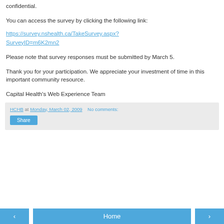confidential.
You can access the survey by clicking the following link:
https://survey.nshealth.ca/TakeSurvey.aspx?SurveyID=m6K2mn2
Please note that survey responses must be submitted by March 5.
Thank you for your participation. We appreciate your investment of time in this important community resource.
Capital Health's Web Experience Team
HCHB at Monday, March 02, 2009   No comments:
Share
‹   Home   ›